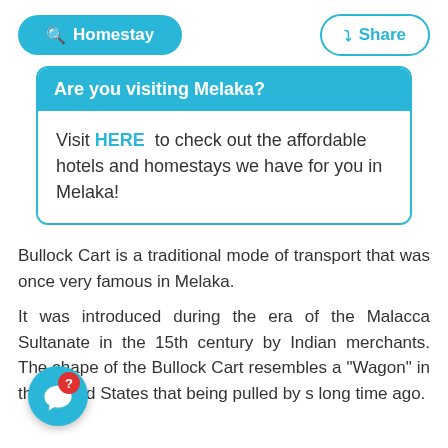Homestay | Share
Are you visiting Melaka?
Visit HERE to check out the affordable hotels and homestays we have for you in Melaka!
Bullock Cart is a traditional mode of transport that was once very famous in Melaka.
It was introduced during the era of the Malacca Sultanate in the 15th century by Indian merchants. The shape of the Bullock Cart resembles a "Wagon" in the United States that being pulled by s long time ago.